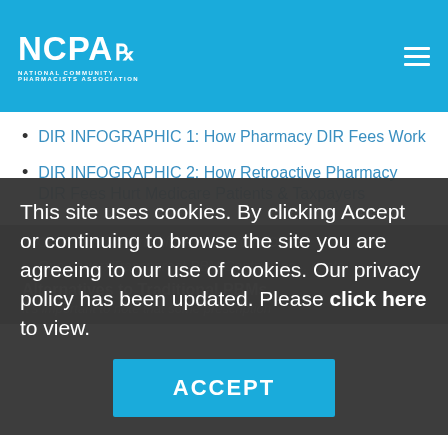NCPA — National Community Pharmacists Association
DIR INFOGRAPHIC 1: How Pharmacy DIR Fees Work
DIR INFOGRAPHIC 2: How Retroactive Pharmacy DIR Fees Hurt Medicare Patients & Taxpayers
One pager: Meaningful PBM Reform Does...
One pager: Transparent PBM Contracting... costs
Alternatives to Traditional PBMs
It's important to note that some prescription
This site uses cookies. By clicking Accept or continuing to browse the site you are agreeing to our use of cookies. Our privacy policy has been updated. Please click here to view.